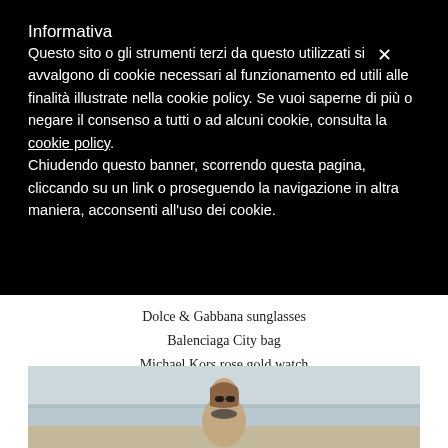Informativa
Questo sito o gli strumenti terzi da questo utilizzati si avvalgono di cookie necessari al funzionamento ed utili alle finalità illustrate nella cookie policy. Se vuoi saperne di più o negare il consenso a tutti o ad alcuni cookie, consulta la cookie policy. Chiudendo questo banner, scorrendo questa pagina, cliccando su un link o proseguendo la navigazione in altra maniera, acconsenti all'uso dei cookie.
Dolce & Gabbana sunglasses
Balenciaga City bag
Michael Kors rose gold watch
Northland sweater
[Figure (photo): Woman with sunglasses and fur coat on a beach, partial view cropped at bottom of page]